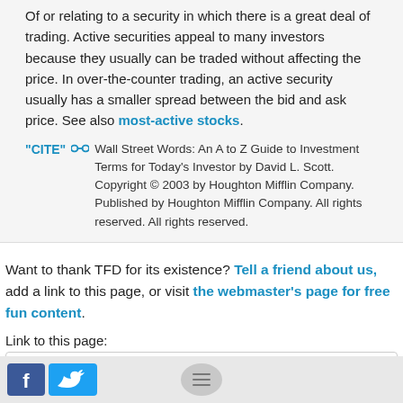Of or relating to a security in which there is a great deal of trading. Active securities appeal to many investors because they usually can be traded without affecting the price. In over-the-counter trading, an active security usually has a smaller spread between the bid and ask price. See also most-active stocks.
"CITE" [link icon] Wall Street Words: An A to Z Guide to Investment Terms for Today's Investor by David L. Scott. Copyright © 2003 by Houghton Mifflin Company. Published by Houghton Mifflin Company. All rights reserved. All rights reserved.
Want to thank TFD for its existence? Tell a friend about us, add a link to this page, or visit the webmaster's page for free fun content.
Link to this page:
<a href="https://financial-dictionary.thefreedictionary.com/voice">Active</a>